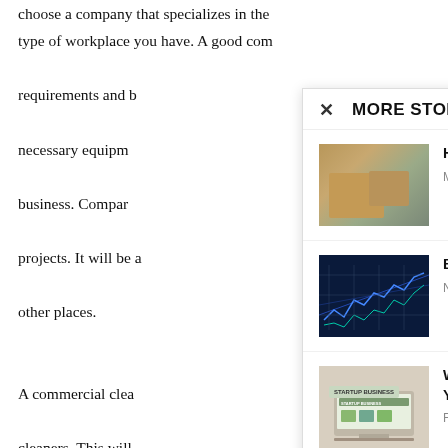choose a company that specializes in the type of workplace you have. A good com requirements and b necessary equipm business. Compar projects. It will be a other places.

A commercial clea cleaners. This will correctly. Dependin cleaning service m Whether it's a sma that the best solution is to adapt to your needs. A professional commercial cleaning company will ensure that your employees
MORE STORIES
[Figure (photo): Workers loading cardboard boxes for shipment]
How to Prepare for Shipment
May 15, 2020
[Figure (photo): Forex trading chart with candlesticks on dark blue background]
Best Forex Broker Malaysia
November 23, 2021
[Figure (photo): Laptop showing Startup Business webpage]
William D King: 5 Tips for Promoting Your Startup Website –...
February 4, 2022